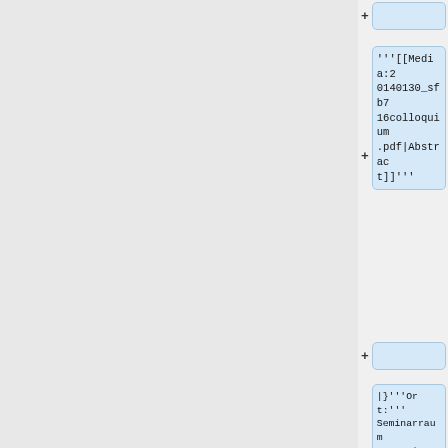[Figure (screenshot): Wiki diff editor view showing source code cells with wiki markup content. Left panel is gray (old content area), right panel shows diff cells with blue highlighted boxes containing wiki markup text. Multiple rows with + signs indicating added lines. Content includes wiki markup: '''[[Media:20140130_sfb716colloquium.pdf|Abstract]]''', |}'''Ort:'''Seminarraum 1.079 im ICP, Allmandring 3<br>'''Zeit:''' 16:00 Uhr<br>, <br>, and {|style="wid]